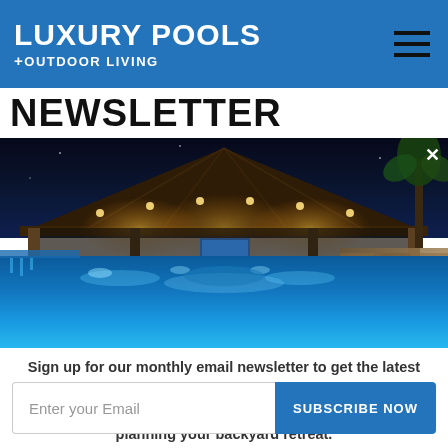LUXURY POOLS + OUTDOOR LIVING
NEWSLETTER
[Figure (photo): Night-time luxury pool with illuminated pavilion structure, warm overhead lights, glowing blue pool water, stone ledge on right side, outdoor furniture visible in background]
Sign up for our monthly email newsletter to get the latest from featured pool builders and designers who create the ultimate backyard escapes. Stop dreaming and start planning your backyard retreat.